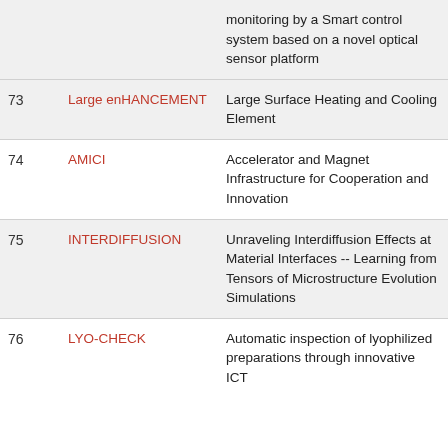| # | Acronym | Full Title |
| --- | --- | --- |
|  |  | monitoring by a Smart control system based on a novel optical sensor platform |
| 73 | Large enHANCEMENT | Large Surface Heating and Cooling Element |
| 74 | AMICI | Accelerator and Magnet Infrastructure for Cooperation and Innovation |
| 75 | INTERDIFFUSION | Unraveling Interdiffusion Effects at Material Interfaces -- Learning from Tensors of Microstructure Evolution Simulations |
| 76 | LYO-CHECK | Automatic inspection of lyophilized preparations through innovative ICT... |